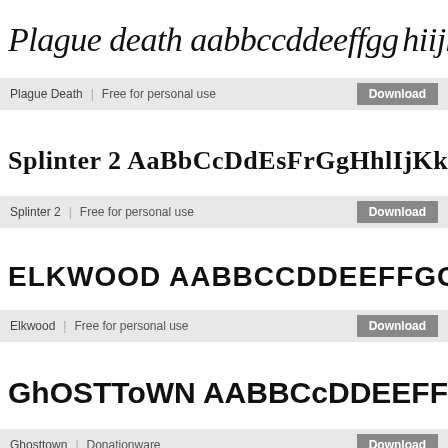[Figure (illustration): Plague death font preview showing: Plague death aabbccddeeffgg hiijkkllmmnn]
Plague Death | Free for personal use | Download
[Figure (illustration): Splinter 2 font preview showing: Splinter 2 AaBbCcDdEsFrGgHhlIjKkLlMmNnOo]
Splinter 2 | Free for personal use | Download
[Figure (illustration): Elkwood font preview showing: ELKWOOD AABBCCDDEEFFGGHHI IJJKKLLMMNNOPP]
Elkwood | Free for personal use | Download
[Figure (illustration): Ghosttown font preview showing: GHOSTTOWN AABBCCDDEEFFGGHHII JJKKLLMM]
Ghosttown | Donationware | Download